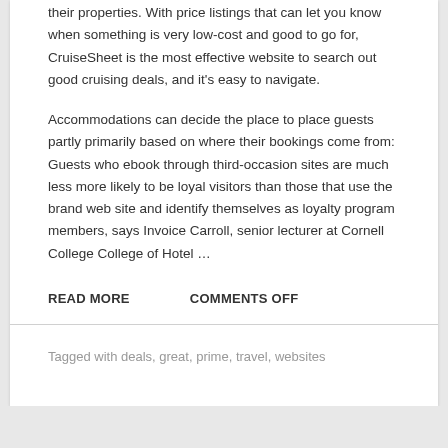their properties. With price listings that can let you know when something is very low-cost and good to go for, CruiseSheet is the most effective website to search out good cruising deals, and it's easy to navigate.
Accommodations can decide the place to place guests partly primarily based on where their bookings come from: Guests who ebook through third-occasion sites are much less more likely to be loyal visitors than those that use the brand web site and identify themselves as loyalty program members, says Invoice Carroll, senior lecturer at Cornell College College of Hotel …
READ MORE   COMMENTS OFF
Tagged with deals, great, prime, travel, websites